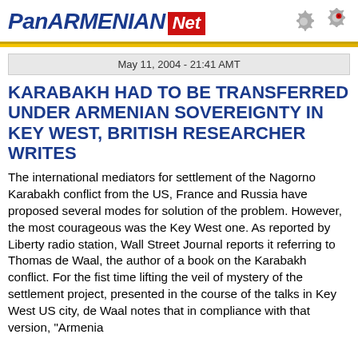PanARMENIAN Net
May 11, 2004 - 21:41 AMT
KARABAKH HAD TO BE TRANSFERRED UNDER ARMENIAN SOVEREIGNTY IN KEY WEST, BRITISH RESEARCHER WRITES
The international mediators for settlement of the Nagorno Karabakh conflict from the US, France and Russia have proposed several modes for solution of the problem. However, the most courageous was the Key West one. As reported by Liberty radio station, Wall Street Journal reports it referring to Thomas de Waal, the author of a book on the Karabakh conflict. For the fist time lifting the veil of mystery of the settlement project, presented in the course of the talks in Key West US city, de Waal notes that in compliance with that version, "Armenia